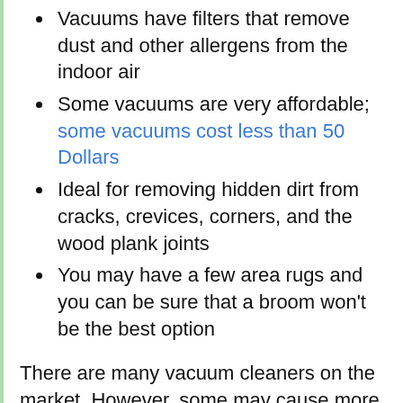Vacuums have filters that remove dust and other allergens from the indoor air
Some vacuums are very affordable; some vacuums cost less than 50 Dollars
Ideal for removing hidden dirt from cracks, crevices, corners, and the wood plank joints
You may have a few area rugs and you can be sure that a broom won't be the best option
There are many vacuum cleaners on the market. However, some may cause more harm than good. For example, if you cannot turn off the tough brushroll (beater bar), it may leave scratches that will damage your floor and leave it looking ugly.
Hardwood flooring can be expensive to install, and any damage may set you back financially. Also, you don't want your floor to be an eyesore. Therefore,